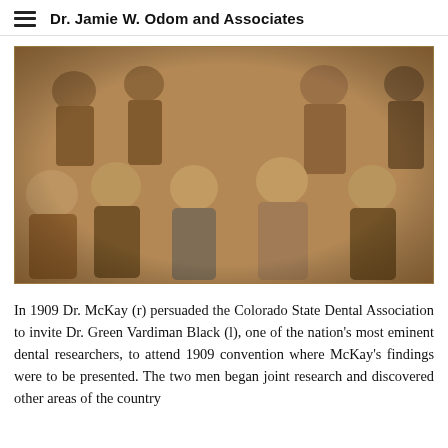Dr. Jamie W. Odom and Associates
[Figure (photo): Sepia-toned historical group photograph of children, approximately 8-10 children arranged in two rows, boys and girls in early 20th century clothing.]
In 1909 Dr. McKay (r) persuaded the Colorado State Dental Association to invite Dr. Green Vardiman Black (l), one of the nation's most eminent dental researchers, to attend 1909 convention where McKay's findings were to be presented. The two men began joint research and discovered other areas of the country where...